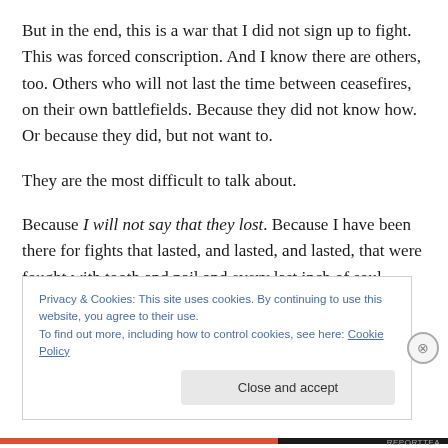But in the end, this is a war that I did not sign up to fight. This was forced conscription. And I know there are others, too. Others who will not last the time between ceasefires, on their own battlefields. Because they did not know how. Or because they did, but not want to.
They are the most difficult to talk about.
Because I will not say that they lost. Because I have been there for fights that lasted, and lasted, and lasted, that were fought with tooth and nail and every last inch of soul
Privacy & Cookies: This site uses cookies. By continuing to use this website, you agree to their use.
To find out more, including how to control cookies, see here: Cookie Policy
Close and accept